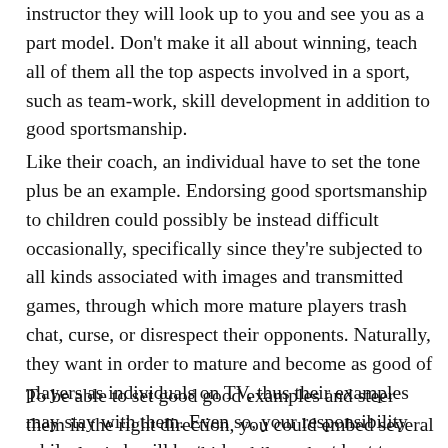instructor they will look up to you and see you as a part model. Don't make it all about winning, teach all of them all the top aspects involved in a sport, such as team-work, skill development in addition to good sportsmanship.
Like their coach, an individual have to set the tone plus be an example. Endorsing good sportsmanship to children could possibly be instead difficult occasionally, specifically since they're subjected to all kinds associated with images and transmitted games, through which more mature players trash chat, curse, or disrespect their opponents. Naturally, they want in order to mature and become as good of players as individuals on TV, thus their examples may stay with them. Even so, your responsibility while a coach will be to do your current best to infuse good sportsmanship in your players.
To be able to set good good examples and steer them in the right direction, you could embed several examples in your coaching philosophy: